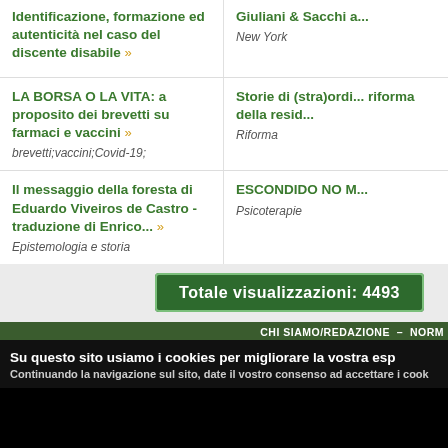Identificazione, formazione ed autenticità nel caso del discente disabile »
Giuliani & Sacchi a... New York
LA BORSA O LA VITA: a proposito dei brevetti su farmaci e vaccini »
brevetti;vaccini;Covid-19;
Storie di (stra)ordi... riforma della resid... Riforma
Il messaggio della foresta di Eduardo Viveiros de Castro - traduzione di Enrico... »
Epistemologia e storia
ESCONDIDO NO M... Psicoterapie
Totale visualizzazioni: 4493
CHI SIAMO/REDAZIONE – NORM
Su questo sito usiamo i cookies per migliorare la vostra esp
Continuando la navigazione sul sito, date il vostro consenso ad accettare i cook